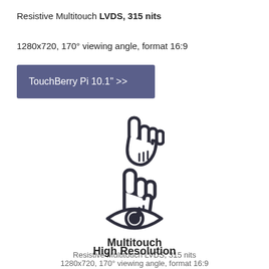Resistive Multitouch LVDS, 315 nits
1280x720, 170° viewing angle, format 16:9
TouchBerry Pi 10.1" >>
[Figure (illustration): Hand pointer/touch icon with pointing finger and three lines on palm]
Multitouch
Resistive Multitouch LVDS, 315 nits
[Figure (illustration): Eye icon representing high resolution display]
High Resolution
1280x720, 170° viewing angle, format 16:9